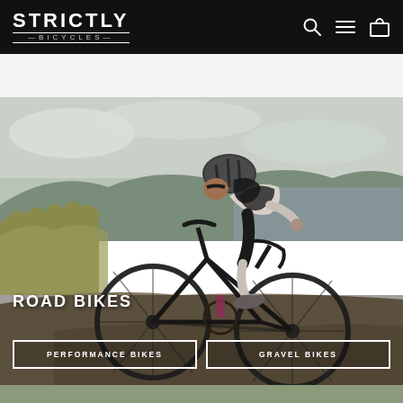STRICTLY —BICYCLES—
[Figure (photo): A male cyclist in helmet, white jersey and black shorts riding a dark road/gravel bike on a dirt road with tall grass and a lake in the background. Overcast sky.]
ROAD BIKES
PERFORMANCE BIKES
GRAVEL BIKES